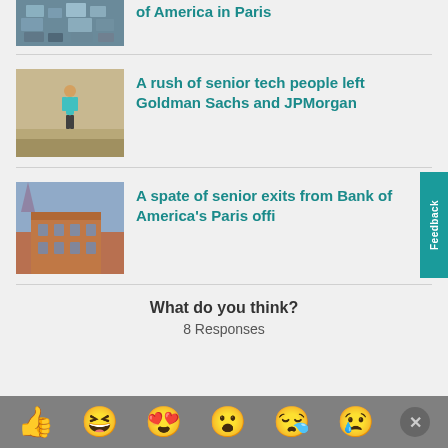[Figure (photo): Aerial view of a city with snow-covered rooftops]
of America in Paris
[Figure (photo): Child walking alone on a sandy beach path, wearing turquoise shirt]
A rush of senior tech people left Goldman Sachs and JPMorgan
[Figure (photo): Exterior view of a large historic brick building (Bank of America Paris office)]
A spate of senior exits from Bank of America's Paris offi
What do you think?
8 Responses
[Figure (infographic): Row of emoji reaction icons: thumbs up, laughing, heart-eyes, surprised, sad, crying, and X button on grey bar]